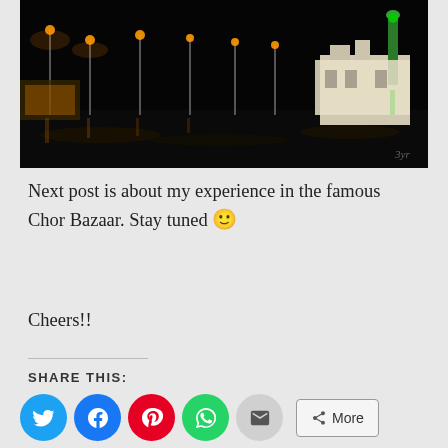[Figure (photo): Night photograph of a coastal or waterfront scene showing a lit building (possibly a mosque) with a green minaret on the right, orange street lights, dark sky, and wet ground reflecting light.]
Next post is about my experience in the famous Chor Bazaar. Stay tuned 🙂
Cheers!!
SHARE THIS:
Loading...